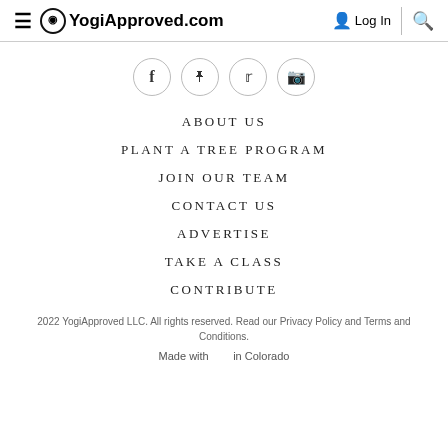≡ YogiApproved.com  Log In  🔍
[Figure (other): Social media icon buttons: Facebook, Pinterest, Twitter, Instagram — each in a circle outline]
ABOUT US
PLANT A TREE PROGRAM
JOIN OUR TEAM
CONTACT US
ADVERTISE
TAKE A CLASS
CONTRIBUTE
2022 YogiApproved LLC. All rights reserved. Read our Privacy Policy and Terms and Conditions.
Made with ♥ in Colorado